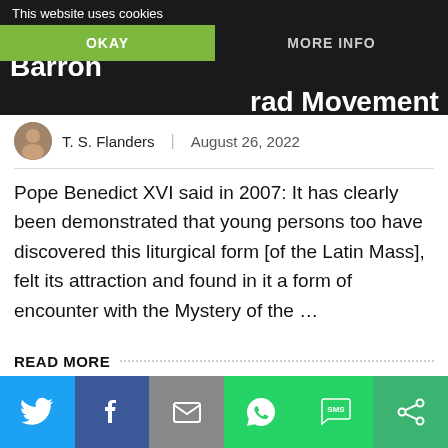This website uses cookies | OKAY | MORE INFO
Shia LaBeouf Shows Bishop Barron ... rad Movement
T. S. Flanders  |  August 26, 2022
Pope Benedict XVI said in 2007: It has clearly been demonstrated that young persons too have discovered this liturgical form [of the Latin Mass], felt its attraction and found in it a form of encounter with the Mystery of the ...
READ MORE
Social share bar: Twitter, Facebook, Email, WhatsApp, SMS, Share